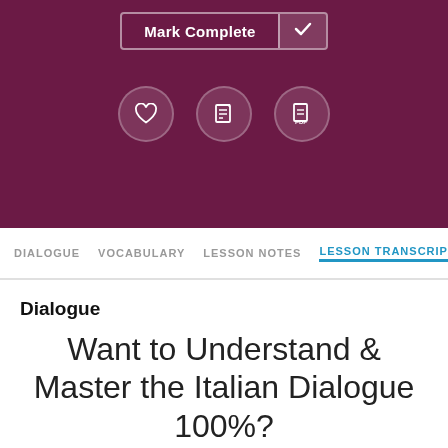[Figure (screenshot): Dark purple header bar with Mark Complete button and three icon circles (heart, notes, PDF)]
DIALOGUE   VOCABULARY   LESSON NOTES   LESSON TRANSCRIPT
Dialogue
Want to Understand & Master the Italian Dialogue 100%?
Get a breakdown of the dialogue and translations instantly with the Premium line-by-line Audio. Sign up for